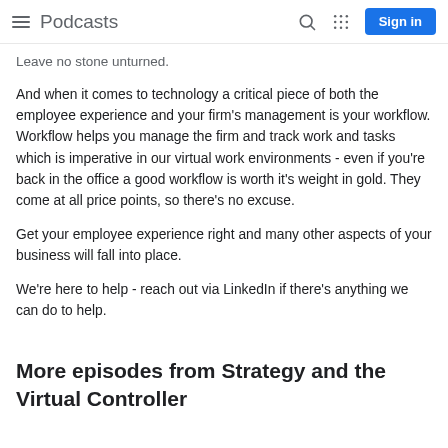Podcasts
Leave no stone unturned.
And when it comes to technology a critical piece of both the employee experience and your firm's management is your workflow. Workflow helps you manage the firm and track work and tasks which is imperative in our virtual work environments - even if you're back in the office a good workflow is worth it's weight in gold. They come at all price points, so there's no excuse.
Get your employee experience right and many other aspects of your business will fall into place.
We're here to help - reach out via LinkedIn if there's anything we can do to help.
More episodes from Strategy and the Virtual Controller